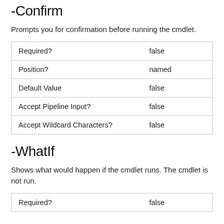-Confirm
Prompts you for confirmation before running the cmdlet.
| Required? | false |
| Position? | named |
| Default Value | false |
| Accept Pipeline Input? | false |
| Accept Wildcard Characters? | false |
-WhatIf
Shows what would happen if the cmdlet runs. The cmdlet is not run.
| Required? | false |